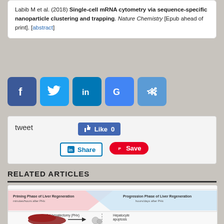Labib M et al. (2018) Single-cell mRNA cytometry via sequence-specific nanoparticle clustering and trapping. Nature Chemistry [Epub ahead of print]. [abstract]
[Figure (infographic): Social media share buttons: Facebook (blue), Twitter (light blue), LinkedIn (dark blue), Google+ (blue), Email/share (medium blue)]
[Figure (infographic): Social media action row: tweet text, Facebook Like 0 button, LinkedIn Share button, Pinterest Save button]
RELATED ARTICLES
[Figure (illustration): Liver regeneration diagram showing Priming Phase (minutes/hours after PHx) and Progression Phase (hours/days after PHx), with partial hepatectomy (PHx) illustration and hepatocyte apoptosis label]